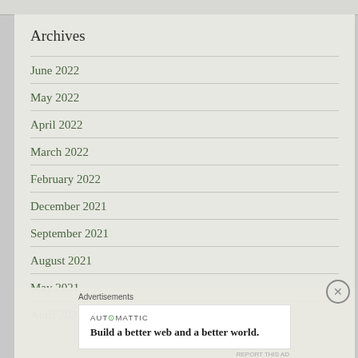Archives
June 2022
May 2022
April 2022
March 2022
February 2022
December 2021
September 2021
August 2021
May 2021
April 2021
Advertisements
[Figure (logo): Automattic logo with tagline: Build a better web and a better world.]